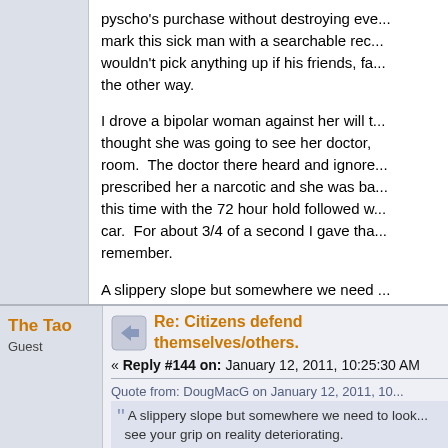pyscho's purchase without destroying eve... mark this sick man with a searchable rec... wouldn't pick anything up if his friends, fa... the other way.
I drove a bipolar woman against her will t... thought she was going to see her doctor, ... room. The doctor there heard and ignore... prescribed her a narcotic and she was ba... this time with the 72 hour hold followed w... car. For about 3/4 of a second I gave tha... remember.
A slippery slope but somewhere we need ... people around you see your grip on reality...
The Tao
Guest
Re: Citizens defend themselves/others.
« Reply #144 on: January 12, 2011, 10:25:30 AM
Quote from: DougMacG on January 12, 2011, 10...
A slippery slope but somewhere we need to look... see your grip on reality deteriorating.